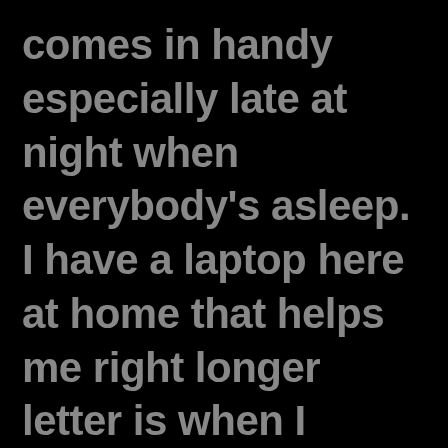comes in handy especially late at night when everybody's asleep. I have a laptop here at home that helps me right longer letter is when I cannot get my wrists to operate. The computer also has tell it type it features as well as